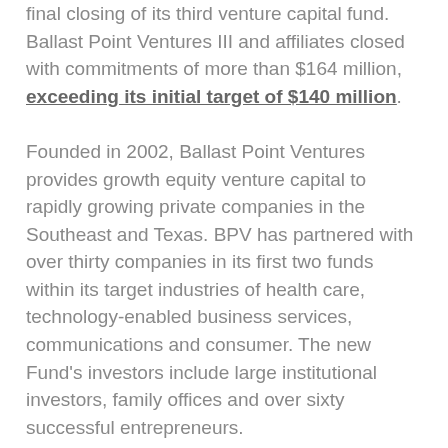final closing of its third venture capital fund. Ballast Point Ventures III and affiliates closed with commitments of more than $164 million, exceeding its initial target of $140 million.
Founded in 2002, Ballast Point Ventures provides growth equity venture capital to rapidly growing private companies in the Southeast and Texas. BPV has partnered with over thirty companies in its first two funds within its target industries of health care, technology-enabled business services, communications and consumer. The new Fund's investors include large institutional investors, family offices and over sixty successful entrepreneurs.
“The BPV team appreciates the strong support of both our previous investors who have partnered with us again and a